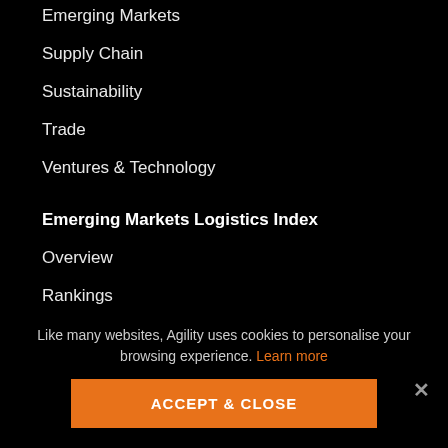Emerging Markets
Supply Chain
Sustainability
Trade
Ventures & Technology
Emerging Markets Logistics Index
Overview
Rankings
Survey
Videos
Downloads
Like many websites, Agility uses cookies to personalise your browsing experience. Learn more
ACCEPT & CLOSE